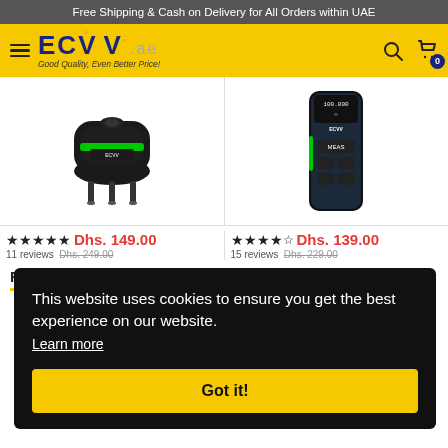Free Shipping & Cash on Delivery for All Orders within UAE
[Figure (logo): ECVV.ae logo with hamburger menu, search icon, and cart icon on yellow background]
[Figure (photo): Green laser level tool product image]
[Figure (photo): Blue and black laser distance meter product image]
★★★★★ Dhs. 149.00
11 reviews   Dhs. 249.00
★★★★☆ Dhs. 139.00
15 reviews   Dhs. 229.00
Fea
This website uses cookies to ensure you get the best experience on our website.
Learn more
Got it!